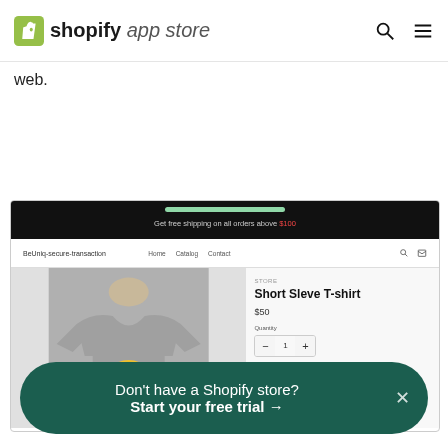shopify app store
web.
[Figure (screenshot): Screenshot of a Shopify store page (BeUniq-secure-transaction) showing a Short Sleve T-shirt product page with announcement bar 'Get free shipping on all orders above $100', product image of a grey t-shirt, price $50, quantity selector, and add to cart button.]
Don't have a Shopify store? Start your free trial →